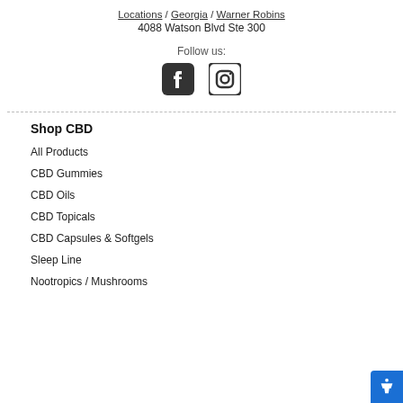Locations / Georgia / Warner Robins
4088 Watson Blvd Ste 300
Follow us:
[Figure (illustration): Facebook and Instagram social media icons]
Shop CBD
All Products
CBD Gummies
CBD Oils
CBD Topicals
CBD Capsules & Softgels
Sleep Line
Nootropics / Mushrooms